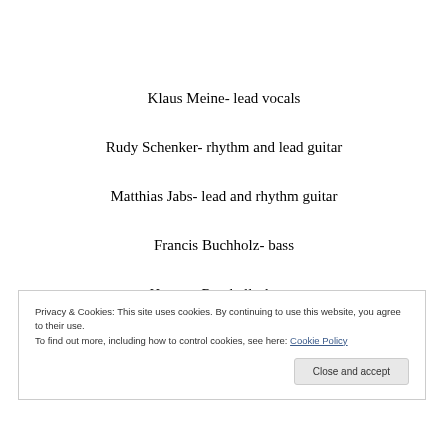Klaus Meine- lead vocals
Rudy Schenker- rhythm and lead guitar
Matthias Jabs- lead and rhythm guitar
Francis Buchholz- bass
Herman Rarebell- drums
Privacy & Cookies: This site uses cookies. By continuing to use this website, you agree to their use.
To find out more, including how to control cookies, see here: Cookie Policy
Close and accept